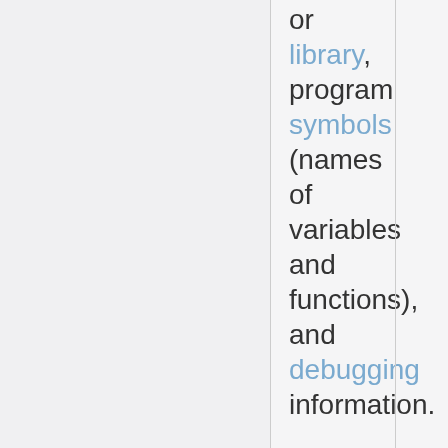or library, program symbols (names of variables and functions), and debugging information. There are many